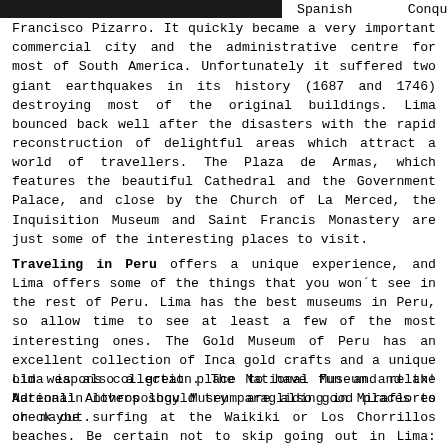[Figure (photo): Dark/black image bar at top left of the page, partial photograph cropped at top]
Spanish Conquistador Francisco Pizarro. It quickly became a very important commercial city and the administrative centre for most of South America. Unfortunately it suffered two giant earthquakes in its history (1687 and 1746) destroying most of the original buildings. Lima bounced back well after the disasters with the rapid reconstruction of delightful areas which attract a world of travellers. The Plaza de Armas, which features the beautiful Cathedral and the Government Palace, and close by the Church of La Merced, the Inquisition Museum and Saint Francis Monastery are just some of the interesting places to visit.
Traveling in Peru offers a unique experience, and Lima offers some of the things that you won´t see in the rest of Peru. Lima has the best museums in Peru, so allow time to see at least a few of the most interesting ones. The Gold Museum of Peru has an excellent collection of Inca gold crafts and a unique old weapons collection. The National Museum and the National Anthropology Museum are also good places to check out.
Lima is also a great place to have fun and relax! Adrenalin lovers should try paragliding in Miraflores or maybe surfing at the Waikiki or Los Chorrillos beaches. Be certain not to skip going out in Lima: the nightlife is one of the best in Peru, especially in the Barranco and Miraflores neighborhoods. The